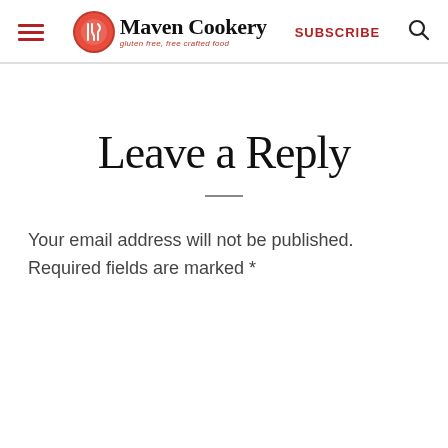Maven Cookery — gluten free, free crafted food | SUBSCRIBE
Leave a Reply
Your email address will not be published. Required fields are marked *